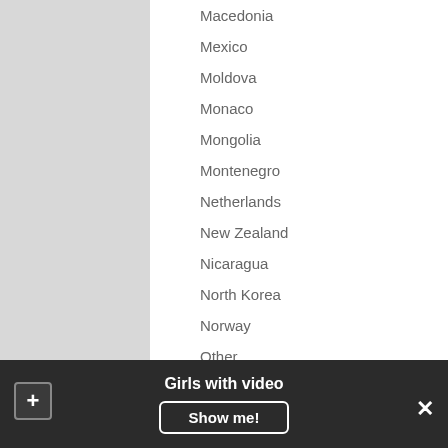Macedonia
Mexico
Moldova
Monaco
Mongolia
Montenegro
Netherlands
New Zealand
Nicaragua
North Korea
Norway
Other
Pakistan
Paraguay
Poland
Portugal
Romania
Serbia
Girls with video
Show me!